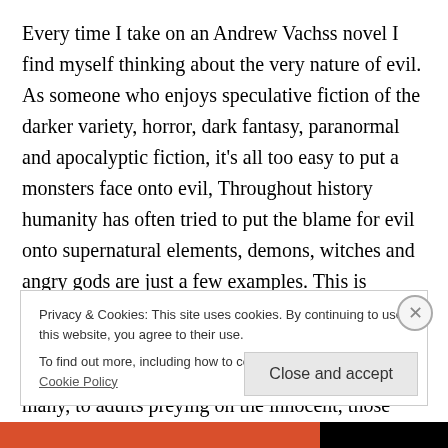Every time I take on an Andrew Vachss novel I find myself thinking about the very nature of evil. As someone who enjoys speculative fiction of the darker variety, horror, dark fantasy, paranormal and apocalyptic fiction, it's all too easy to put a monsters face onto evil, Throughout history humanity has often tried to put the blame for evil onto supernatural elements, demons, witches and angry gods are just a few examples. This is because most often evil wears a human face. Evil things are done by humanity every day, from the rich and powerful playing games with the lives of many, to adults preying on the innocent, those
Privacy & Cookies: This site uses cookies. By continuing to use this website, you agree to their use.
To find out more, including how to control cookies, see here: Cookie Policy
Close and accept